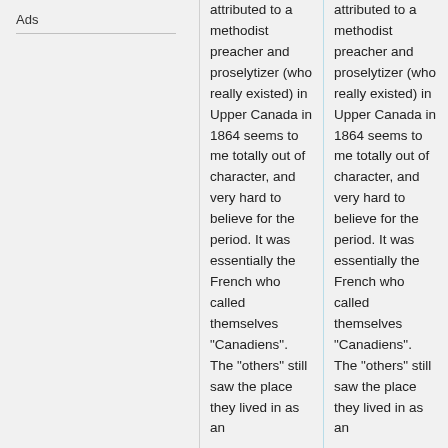Ads
attributed to a methodist preacher and proselytizer (who really existed) in Upper Canada in 1864 seems to me totally out of character, and very hard to believe for the period. It was essentially the French who called themselves "Canadiens". The "others" still saw the place they lived in as an
attributed to a methodist preacher and proselytizer (who really existed) in Upper Canada in 1864 seems to me totally out of character, and very hard to believe for the period. It was essentially the French who called themselves "Canadiens". The "others" still saw the place they lived in as an